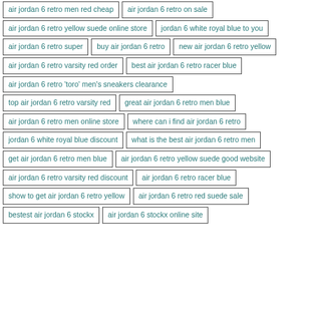air jordan 6 retro men red cheap
air jordan 6 retro on sale
air jordan 6 retro yellow suede online store
jordan 6 white royal blue to you
air jordan 6 retro super
buy air jordan 6 retro
new air jordan 6 retro yellow
air jordan 6 retro varsity red order
best air jordan 6 retro racer blue
air jordan 6 retro 'toro' men's sneakers clearance
top air jordan 6 retro varsity red
great air jordan 6 retro men blue
air jordan 6 retro men online store
where can i find air jordan 6 retro
jordan 6 white royal blue discount
what is the best air jordan 6 retro men
get air jordan 6 retro men blue
air jordan 6 retro yellow suede good website
air jordan 6 retro varsity red discount
air jordan 6 retro racer blue
show to get air jordan 6 retro yellow
air jordan 6 retro red suede sale
bestest air jordan 6 stockx
air jordan 6 stockx online site